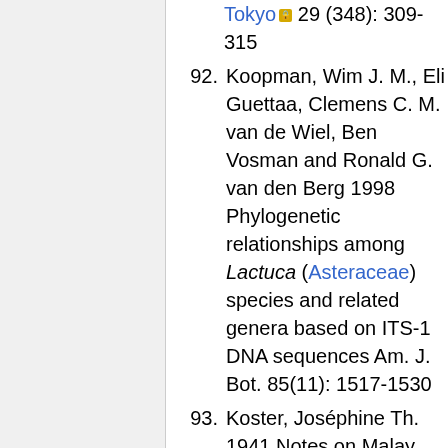Tokyo 29 (348): 309-315
92. Koopman, Wim J. M., Eli Guettaa, Clemens C. M. van de Wiel, Ben Vosman and Ronald G. van den Berg 1998 Phylogenetic relationships among Lactuca (Asteraceae) species and related genera based on ITS-1 DNA sequences Am. J. Bot. 85(11): 1517-1530
93. Koster, Joséphine Th. 1941 Notes on Malay Compositae Blumea